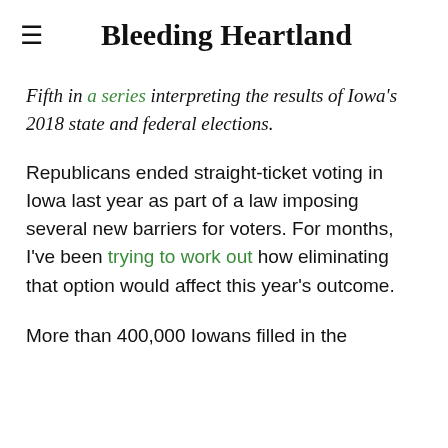Bleeding Heartland
Fifth in a series interpreting the results of Iowa's 2018 state and federal elections.
Republicans ended straight-ticket voting in Iowa last year as part of a law imposing several new barriers for voters. For months, I've been trying to work out how eliminating that option would affect this year's outcome.
More than 400,000 Iowans filled in the